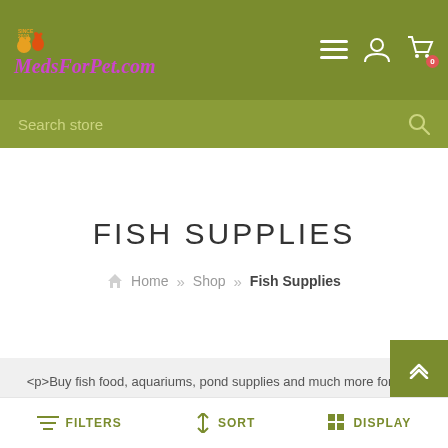MedsForPet.com — navigation bar with logo, menu, account, and cart icons
Search store
FISH SUPPLIES
Home » Shop » Fish Supplies
<p>Buy fish food, aquariums, pond supplies and much more for your beloved fishes. Meds For Pet guarantees best quality and prices for all your pet needs. </p>
FILTERS   SORT   DISPLAY